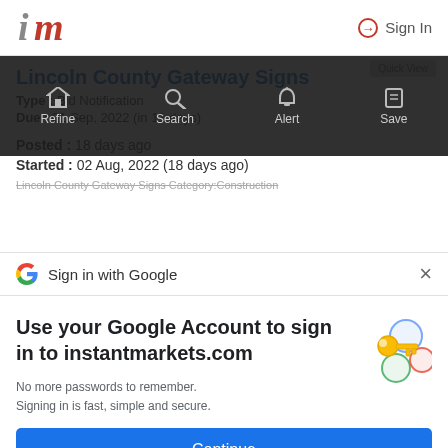[Figure (logo): InstantMarkets 'im' logo in top-left header]
Sign In
Lincoln County Gateway Signs
Type : Bid Notification
Due : 01 Sep, 2022 (in 11 days)
Posted : 18 days ago
Started : 02 Aug, 2022 (18 days ago)
Lincoln County Gateway Signs Category:Construction
Sign in with Google
Use your Google Account to sign in to instantmarkets.com
No more passwords to remember.
Signing in is fast, simple and secure.
[Figure (illustration): Google key illustration with colorful circles]
Continue
bottom blurred bar